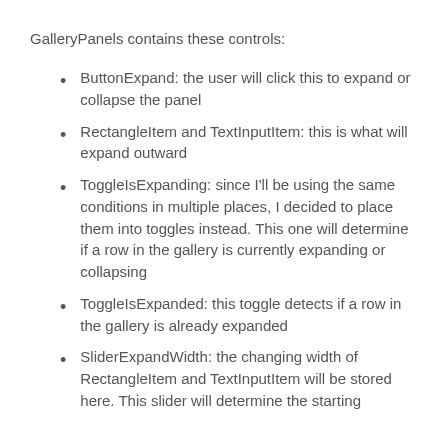GalleryPanels contains these controls:
ButtonExpand: the user will click this to expand or collapse the panel
RectangleItem and TextInputItem: this is what will expand outward
ToggleIsExpanding: since I'll be using the same conditions in multiple places, I decided to place them into toggles instead. This one will determine if a row in the gallery is currently expanding or collapsing
ToggleIsExpanded: this toggle detects if a row in the gallery is already expanded
SliderExpandWidth: the changing width of RectangleItem and TextInputItem will be stored here. This slider will determine the starting...